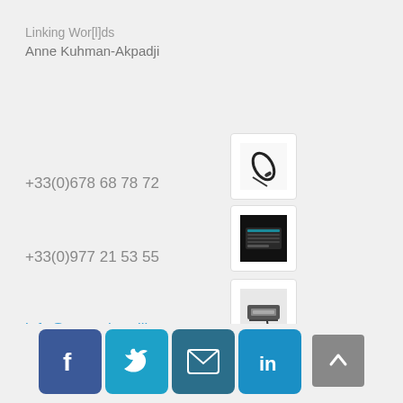Linking Wor[l]ds
Anne Kuhman-Akpadji
[Figure (photo): Mobile phone / bluetooth headset icon]
+33(0)678 68 78 72
[Figure (photo): Keyboard/phone icon]
+33(0)977 21 53 55
[Figure (photo): Computer/fax/modem icon]
info@anneakpadji.com
[Figure (infographic): Social media icons: Facebook, Twitter, Email, LinkedIn, and back-to-top button]